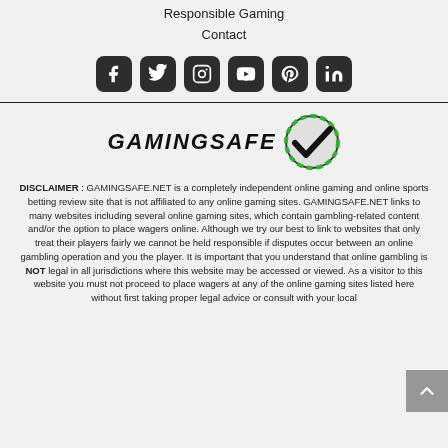Responsible Gaming
Contact
[Figure (infographic): Row of 6 social media icon buttons (Facebook, Twitter, Instagram, YouTube, Pinterest, LinkedIn) with dark rounded square backgrounds]
[Figure (logo): GamingSafe logo with bold italic text 'GAMINGSAFE' and a poker chip with checkmark badge]
DISCLAIMER : GAMINGSAFE.NET is a completely independent online gaming and online sports betting review site that is not affiliated to any online gaming sites. GAMINGSAFE.NET links to many websites including several online gaming sites, which contain gambling-related content and/or the option to place wagers online. Although we try our best to link to websites that only treat their players fairly we cannot be held responsible if disputes occur between an online gambling operation and you the player. It is important that you understand that online gambling is NOT legal in all jurisdictions where this website may be accessed or viewed. As a visitor to this website you must not proceed to place wagers at any of the online gaming sites listed here without first taking proper legal advice or consult with your local